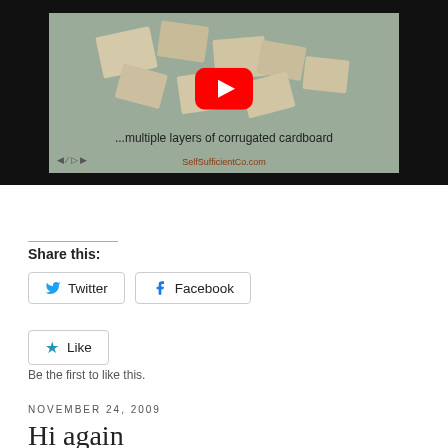[Figure (screenshot): YouTube video thumbnail showing scattered pieces of cardboard on ground with YouTube play button overlay. Caption reads '...multiple layers of corrugated cardboard' with a website watermark.]
Share this:
Twitter
Facebook
Like
Be the first to like this.
NOVEMBER 24, 2009
Hi again